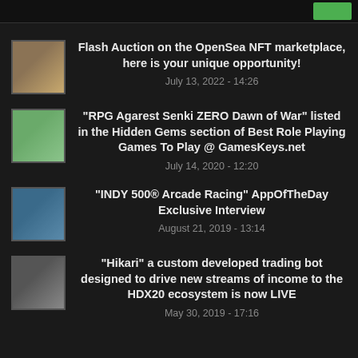Flash Auction on the OpenSea NFT marketplace, here is your unique opportunity!
July 13, 2022 - 14:26
"RPG Agarest Senki ZERO Dawn of War" listed in the Hidden Gems section of Best Role Playing Games To Play @ GamesKeys.net
July 14, 2020 - 12:20
"INDY 500® Arcade Racing" AppOfTheDay Exclusive Interview
August 21, 2019 - 13:14
"Hikari" a custom developed trading bot designed to drive new streams of income to the HDX20 ecosystem is now LIVE
May 30, 2019 - 17:16